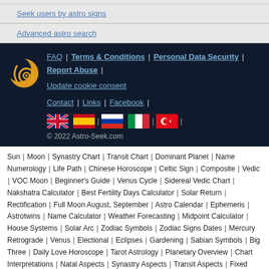Seek users by astro signs
Advanced astro search
FAQ | Terms & Conditions | Personal Data Security | Report Abuse | Update cookie consent | Contact | Links | Facebook | © 2022 Astro-Seek.com
Sun | Moon | Synastry Chart | Transit Chart | Dominant Planet | Name Numerology | Life Path | Chinese Horoscope | Celtic Sign | Composite | Vedic | VOC Moon | Beginner's Guide | Venus Cycle | Sidereal Vedic Chart | Nakshatra Calculator | Best Fertility Days Calculator | Solar Return | Rectification | Full Moon August, September | Astro Calendar | Ephemeris | Astrotwins | Name Calculator | Weather Forecasting | Midpoint Calculator | House Systems | Solar Arc | Zodiac Symbols | Zodiac Signs Dates | Mercury Retrograde | Venus | Electional | Eclipses | Gardening | Sabian Symbols | Big Three | Daily Love Horoscope | Tarot Astrology | Planetary Overview | Chart Interpretations | Natal Aspects | Synastry Aspects | Transit Aspects | Fixed Stars | Sinastria | Carta Natal | Horóscopos gratuitos |